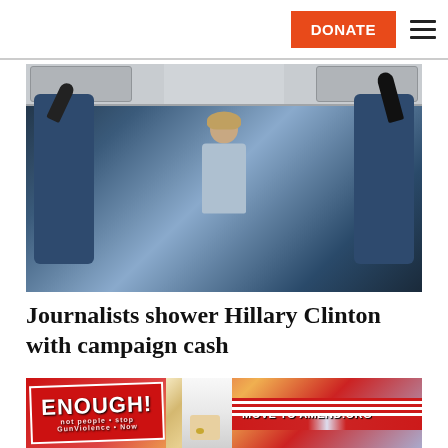DONATE
[Figure (photo): Hillary Clinton seated in airplane aisle surrounded by journalists holding microphones during a press conference on the campaign plane]
Journalists shower Hillary Clinton with campaign cash
[Figure (photo): Protesters holding signs including 'ENOUGH!' banner with American flag design and 'MOVE TO AMEND.ORG' banner at a rally]